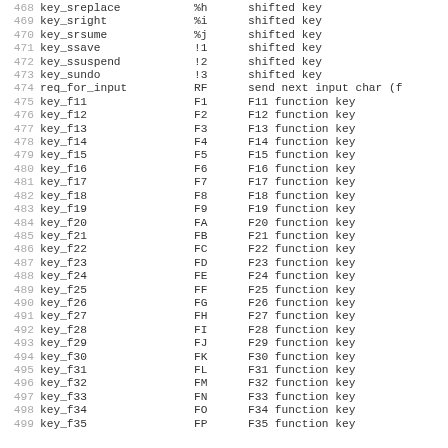| # | name | code | description |
| --- | --- | --- | --- |
| 468 | key_sreplace | %h | shifted key |
| 469 | key_sright | %i | shifted key |
| 470 | key_srsume | %j | shifted key |
| 471 | key_ssave | !1 | shifted key |
| 472 | key_ssuspend | !2 | shifted key |
| 473 | key_sundo | !3 | shifted key |
| 474 | req_for_input | RF | send next input char (f |
| 475 | key_f11 | F1 | F11 function key |
| 476 | key_f12 | F2 | F12 function key |
| 477 | key_f13 | F3 | F13 function key |
| 478 | key_f14 | F4 | F14 function key |
| 479 | key_f15 | F5 | F15 function key |
| 480 | key_f16 | F6 | F16 function key |
| 481 | key_f17 | F7 | F17 function key |
| 482 | key_f18 | F8 | F18 function key |
| 483 | key_f19 | F9 | F19 function key |
| 484 | key_f20 | FA | F20 function key |
| 485 | key_f21 | FB | F21 function key |
| 486 | key_f22 | FC | F22 function key |
| 487 | key_f23 | FD | F23 function key |
| 488 | key_f24 | FE | F24 function key |
| 489 | key_f25 | FF | F25 function key |
| 490 | key_f26 | FG | F26 function key |
| 491 | key_f27 | FH | F27 function key |
| 492 | key_f28 | FI | F28 function key |
| 493 | key_f29 | FJ | F29 function key |
| 494 | key_f30 | FK | F30 function key |
| 495 | key_f31 | FL | F31 function key |
| 496 | key_f32 | FM | F32 function key |
| 497 | key_f33 | FN | F33 function key |
| 498 | key_f34 | FO | F34 function key |
| 499 | key_f35 | FP | F35 function key |